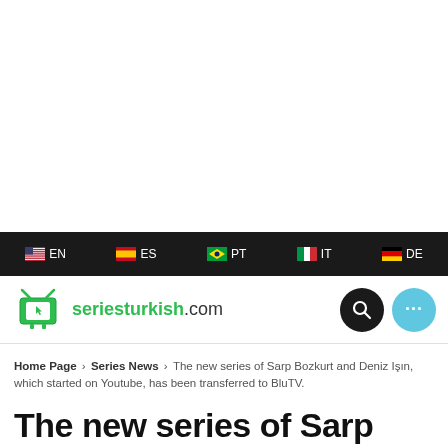EN  ES  PT  IT  DE
[Figure (logo): seriesturkish.com logo with green TV icon]
Home Page > Series News > The new series of Sarp Bozkurt and Deniz Işın, which started on Youtube, has been transferred to BluTV.
The new series of Sarp Bozkurt and Deniz Işın, which started on